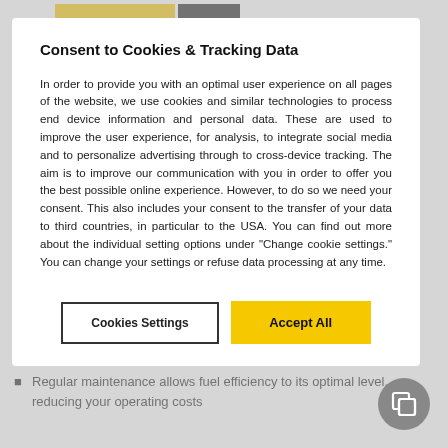Consent to Cookies & Tracking Data
In order to provide you with an optimal user experience on all pages of the website, we use cookies and similar technologies to process end device information and personal data. These are used to improve the user experience, for analysis, to integrate social media and to personalize advertising through to cross-device tracking. The aim is to improve our communication with you in order to offer you the best possible online experience. However, to do so we need your consent. This also includes your consent to the transfer of your data to third countries, in particular to the USA. You can find out more about the individual setting options under "Change cookie settings." You can change your settings or refuse data processing at any time.
Cookies Settings
Accept All
of major components
Regular maintenance allows fuel efficiency to its optimal level, reducing your operating costs